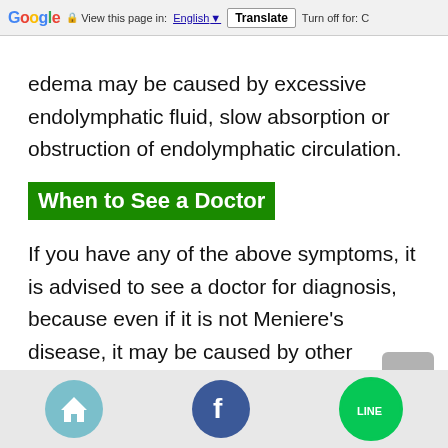Google  View this page in: English [▼]  Translate  Turn off for: C
edema may be caused by excessive endolymphatic fluid, slow absorption or obstruction of endolymphatic circulation.
When to See a Doctor
If you have any of the above symptoms, it is advised to see a doctor for diagnosis, because even if it is not Meniere's disease, it may be caused by other disorders. For example, although rare, vertigo may be a symptom of
[Figure (other): Bottom navigation bar with home icon (teal circle), Facebook icon (dark blue circle), and LINE icon (green circle), plus a grey scroll-to-top button]